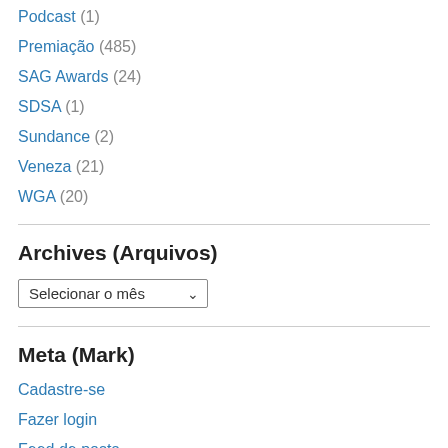Podcast (1)
Premiação (485)
SAG Awards (24)
SDSA (1)
Sundance (2)
Veneza (21)
WGA (20)
Archives (Arquivos)
Selecionar o mês
Meta (Mark)
Cadastre-se
Fazer login
Feed de posts
Feed de comentários